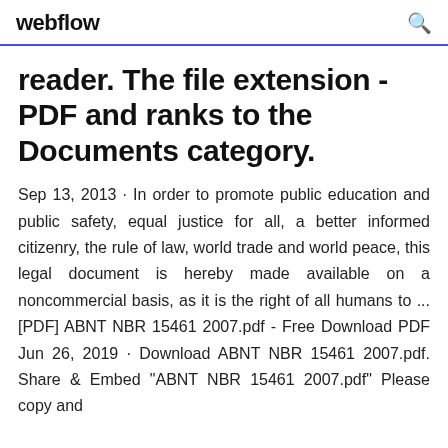webflow
reader. The file extension - PDF and ranks to the Documents category.
Sep 13, 2013 · In order to promote public education and public safety, equal justice for all, a better informed citizenry, the rule of law, world trade and world peace, this legal document is hereby made available on a noncommercial basis, as it is the right of all humans to ... [PDF] ABNT NBR 15461 2007.pdf - Free Download PDF Jun 26, 2019 · Download ABNT NBR 15461 2007.pdf. Share & Embed "ABNT NBR 15461 2007.pdf" Please copy and